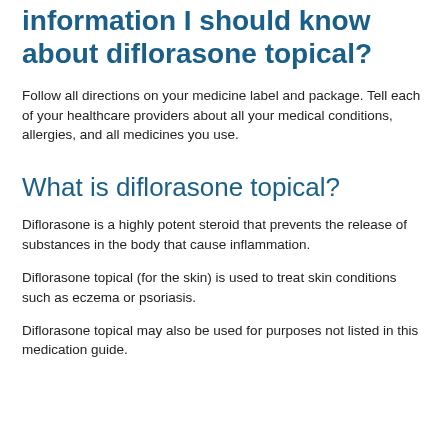information I should know about diflorasone topical?
Follow all directions on your medicine label and package. Tell each of your healthcare providers about all your medical conditions, allergies, and all medicines you use.
What is diflorasone topical?
Diflorasone is a highly potent steroid that prevents the release of substances in the body that cause inflammation.
Diflorasone topical (for the skin) is used to treat skin conditions such as eczema or psoriasis.
Diflorasone topical may also be used for purposes not listed in this medication guide.